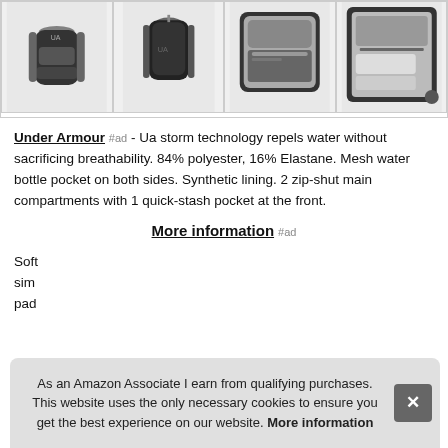[Figure (photo): Four product images of Under Armour backpacks in a horizontal strip: front view, back view, open front pocket view, and open main compartment view.]
Under Armour #ad - Ua storm technology repels water without sacrificing breathability. 84% polyester, 16% Elastane. Mesh water bottle pocket on both sides. Synthetic lining. 2 zip-shut main compartments with 1 quick-stash pocket at the front.
More information #ad
Soft... sim... pad...
As an Amazon Associate I earn from qualifying purchases. This website uses the only necessary cookies to ensure you get the best experience on our website. More information